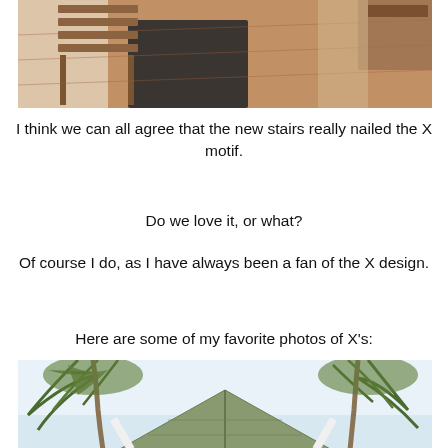[Figure (photo): Interior room photo showing wooden bench/table furniture on hardwood floors with a dark runner rug, bright white walls]
I think we can all agree that the new stairs really nailed the X motif.
Do we love it, or what?
Of course I do, as I have always been a fan of the X design.
Here are some of my favorite photos of X's:
[Figure (photo): Outdoor photo showing palm trees and a house roof with gabled eave against a bright sky]